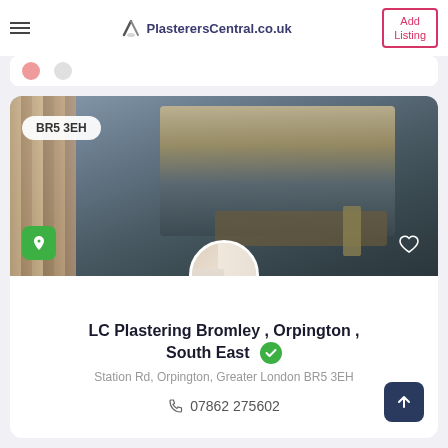PlasterersCentral.co.uk | Add Listing
[Figure (photo): Worker photo hero image with vertical strips/blinds in background, postcode badge BR5 3EH, green location icon, heart icon, and circular profile thumbnail of plastered corner]
LC Plastering Bromley , Orpington , South East
Station Rd, Orpington, Greater London BR5 3EH
07862 275602